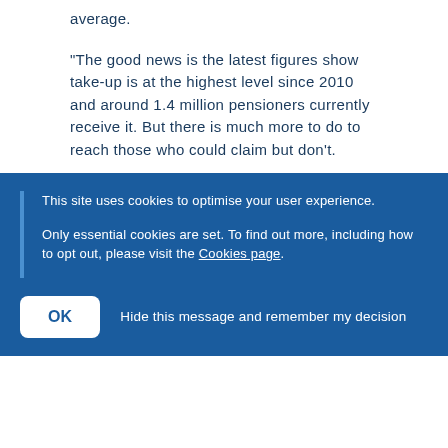average.
“The good news is the latest figures show take-up is at the highest level since 2010 and around 1.4 million pensioners currently receive it. But there is much more to do to reach those who could claim but don’t.
“That’s why I’m working hard to ensure everybody knows where to get extra help to which they are entitled.”
Local News
You may also be interested in
This site uses cookies to optimise your user experience.
Only essential cookies are set. To find out more, including how to opt out, please visit the Cookies page.
OK  Hide this message and remember my decision